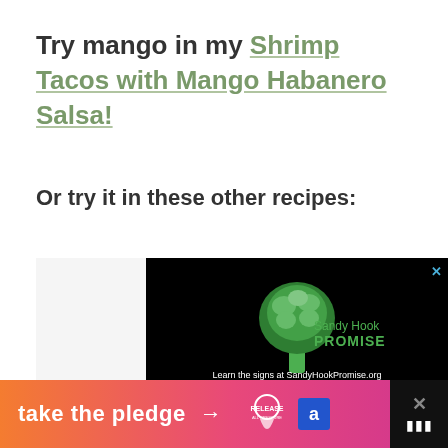Try mango in my Shrimp Tacos with Mango Habanero Salsa!
Or try it in these other recipes:
[Figure (screenshot): Sandy Hook Promise advertisement on black background. Shows a green tree logo made of hands with text 'Sandy Hook PROMISE' and 'Learn the signs at SandyHookPromise.org'. Has a close X button in top right.]
[Figure (screenshot): Bottom banner advertisement with orange-to-pink gradient saying 'take the pledge →' with Release and other brand logos on right, and close X button on far right.]